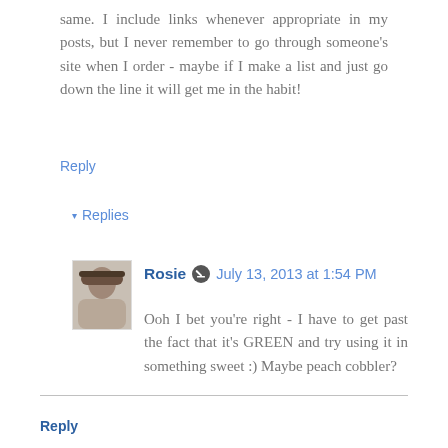same. I include links whenever appropriate in my posts, but I never remember to go through someone's site when I order - maybe if I make a list and just go down the line it will get me in the habit!
Reply
▾ Replies
[Figure (photo): Avatar photo of a person wearing a hat]
Rosie ✏ July 13, 2013 at 1:54 PM
Ooh I bet you're right - I have to get past the fact that it's GREEN and try using it in something sweet :) Maybe peach cobbler?
Reply